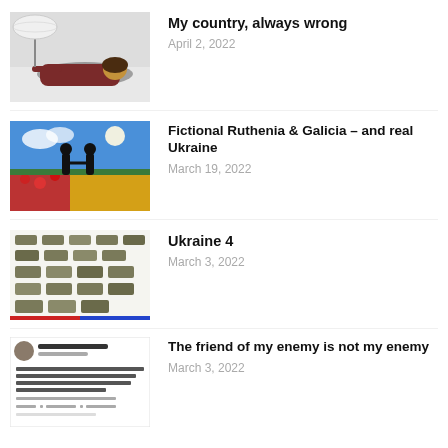[Figure (photo): Person lying face down in snow holding a white umbrella]
My country, always wrong
April 2, 2022
[Figure (illustration): Colorful painting of two figures shaking hands in a field with blue sky, red poppies, yellow grain, moon]
Fictional Ruthenia & Galicia – and real Ukraine
March 19, 2022
[Figure (infographic): Chart/guide showing many military tanks, rows of various tank types illustrated]
Ukraine 4
March 3, 2022
[Figure (screenshot): Screenshot of a tweet by James Lindsay saying: Maybe Zelensky is a hero, maybe not, but I immediately distrust anyone the Regime tries to prop up this hard. 8:20 am · 1/3/2022 · Twitter for Android. 369 Retweets 30 Quote Tweets 3,756 Likes]
The friend of my enemy is not my enemy
March 3, 2022